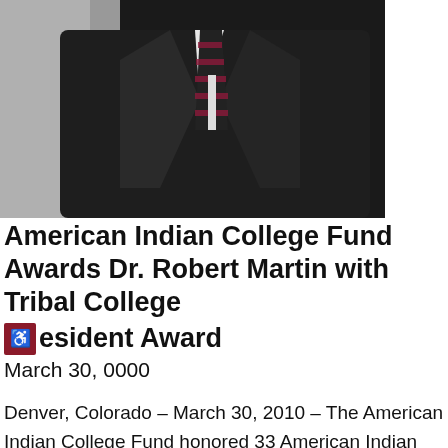[Figure (photo): Photograph of a man in a dark suit with a pink and black striped tie, cropped to show torso and lower face only.]
American Indian College Fund Awards Dr. Robert Martin with Tribal College President Award
March 30, 0000
Denver, Colorado – March 30, 2010 – The American Indian College Fund honored 33 American Indian scholarship recipients at its 2009-10 Student of the